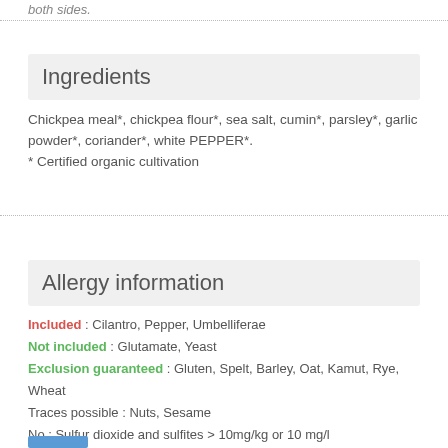both sides.
Ingredients
Chickpea meal*, chickpea flour*, sea salt, cumin*, parsley*, garlic powder*, coriander*, white PEPPER*. * Certified organic cultivation
Allergy information
Included : Cilantro, Pepper, Umbelliferae
Not included : Glutamate, Yeast
Exclusion guaranteed : Gluten, Spelt, Barley, Oat, Kamut, Rye, Wheat
Traces possible : Nuts, Sesame
No : Sulfur dioxide and sulfites > 10mg/kg or 10 mg/l